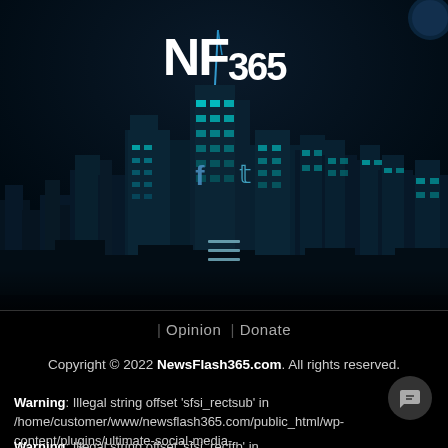[Figure (screenshot): NF365 website header showing a nighttime city skyline with teal/cyan glowing buildings, NF365 logo in large white bold text at the top center, social media icons (Facebook, Twitter), and a hamburger menu icon.]
| Opinion | Donate
Copyright © 2022 NewsFlash365.com. All rights reserved.
Warning: Illegal string offset 'sfsi_rectsub' in /home/customer/www/newsflash365.com/public_html/wp-content/plugins/ultimate-social-media-icons/libs/controllers/sfsiocns_OnPosts.php on line 395
Warning: Illegal string offset 'sfsi_rectfb' in